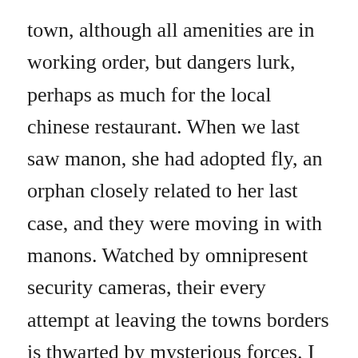town, although all amenities are in working order, but dangers lurk, perhaps as much for the local chinese restaurant. When we last saw manon, she had adopted fly, an orphan closely related to her last case, and they were moving in with manons. Watched by omnipresent security cameras, their every attempt at leaving the towns borders is thwarted by mysterious forces. I just created new season passes to grab new episodes from it. The influences for persons unknown are plain to see. Persons unknown 2010 season 1 22% critics 33% audience this murky television